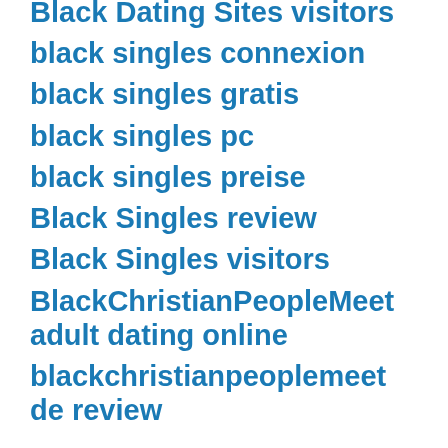Black Dating Sites visitors
black singles connexion
black singles gratis
black singles pc
black singles preise
Black Singles review
Black Singles visitors
BlackChristianPeopleMeet adult dating online
blackchristianpeoplemeet de review